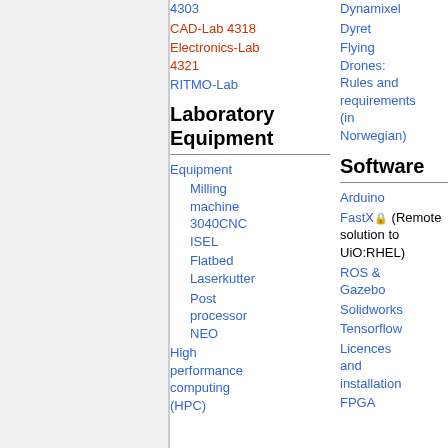4303
CAD-Lab 4318
Electronics-Lab 4321
RITMO-Lab
Laboratory Equipment
Equipment
Milling machine 3040CNC ISEL
Flatbed Laserkutter
Post processor NEO
High performance computing (HPC)
Dynamixel
Dyret
Flying Drones: Rules and requirements (in Norwegian)
Software
Arduino
FastX (Remote solution to UiO:RHEL)
ROS & Gazebo
Solidworks
Tensorflow
Licences and installation
FPGA